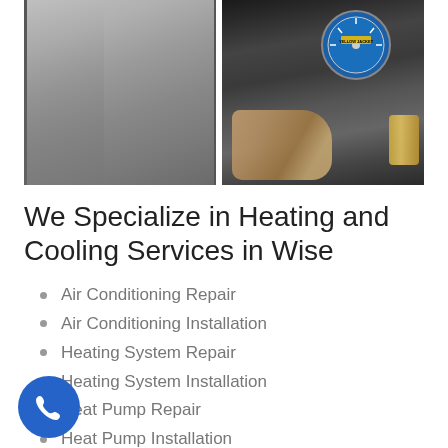[Figure (photo): Split photo: left side shows a gray HVAC unit/panel, right side shows hands holding a Yellow Jacket refrigerant manifold gauge set with blue gauge and brass fittings]
We Specialize in Heating and Cooling Services in Wise
Air Conditioning Repair
Air Conditioning Installation
Heating System Repair
Heating System Installation
Heat Pump Repair
Heat Pump Installation
Radiant Tube Heating Repair
Radiant Tube Heating Installation
GEO - Thermal Systems